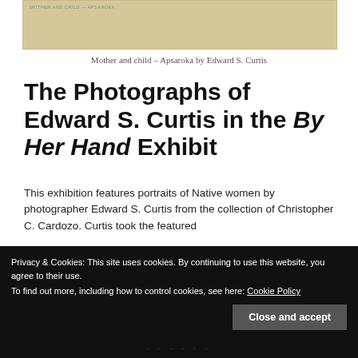[Figure (photo): Sepia-toned historical photograph, partial view, with text label at top reading 'MOTHER AND CHILD - APSAROKA']
Mother and child – Apsaroka by Edward S. Curtis
The Photographs of Edward S. Curtis in the By Her Hand Exhibit
This exhibition features portraits of Native women by photographer Edward S. Curtis from the collection of Christopher C. Cardozo. Curtis took the featured
Privacy & Cookies: This site uses cookies. By continuing to use this website, you agree to their use.
To find out more, including how to control cookies, see here: Cookie Policy
Close and accept